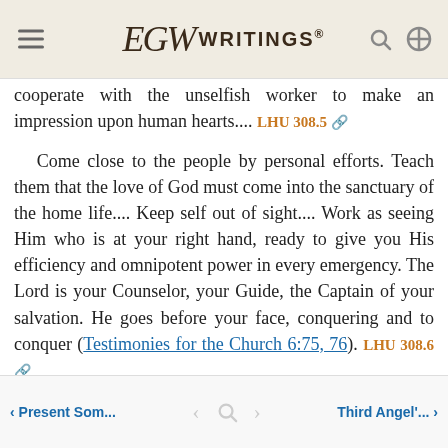EGW WRITINGS®
cooperate with the unselfish worker to make an impression upon human hearts.... LHU 308.5
Come close to the people by personal efforts. Teach them that the love of God must come into the sanctuary of the home life.... Keep self out of sight.... Work as seeing Him who is at your right hand, ready to give you His efficiency and omnipotent power in every emergency. The Lord is your Counselor, your Guide, the Captain of your salvation. He goes before your face, conquering and to conquer (Testimonies for the Church 6:75, 76). LHU 308.6
< Present Som...   < 🔍 >   Third Angel'... >